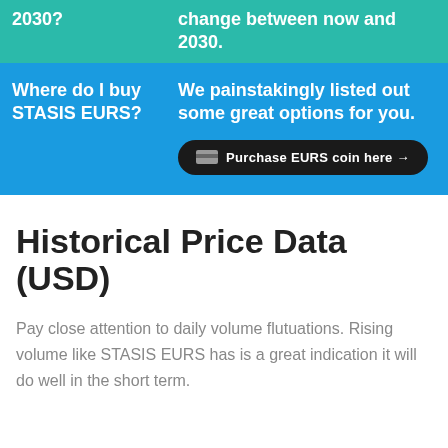2030?
change between now and 2030.
Where do I buy STASIS EURS?
We painstakingly listed out some great options for you.
Purchase EURS coin here →
Historical Price Data (USD)
Pay close attention to daily volume flutuations. Rising volume like STASIS EURS has is a great indication it will do well in the short term.